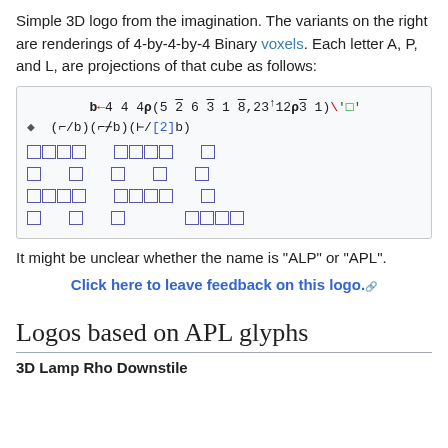Simple 3D logo from the imagination. The variants on the right are renderings of 4-by-4-by-4 Binary voxels. Each letter A, P, and L, are projections of that cube as follows:
[Figure (other): APL code/formula box showing: b←4 4 4ρ(5 ¯2 6 ¯3 1 ¯8,23↑12ρ¯3 1)\'□' followed by a diamond bullet and (⌐/b)(⌐⌿b)(⊢/[2]b) and a grid of box-drawing characters representing letter projections]
It might be unclear whether the name is "ALP" or "APL".
Click here to leave feedback on this logo.
Logos based on APL glyphs
3D Lamp Rho Downstile